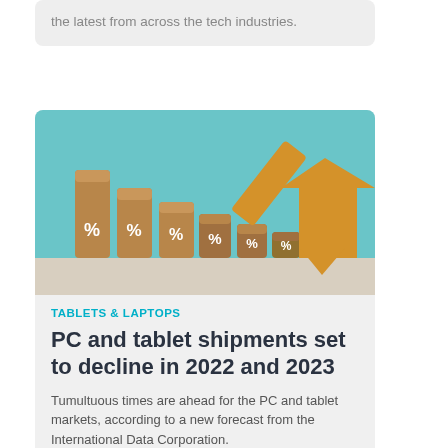the latest from across the tech industries.
[Figure (photo): Wooden cylinder blocks of decreasing height arranged like a declining bar chart, each marked with a percentage symbol, with a large gold/orange arrow pointing downward to the right, against a teal background.]
TABLETS & LAPTOPS
PC and tablet shipments set to decline in 2022 and 2023
Tumultuous times are ahead for the PC and tablet markets, according to a new forecast from the International Data Corporation.